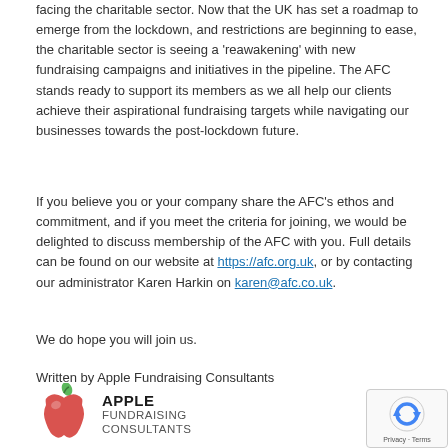facing the charitable sector. Now that the UK has set a roadmap to emerge from the lockdown, and restrictions are beginning to ease, the charitable sector is seeing a 'reawakening' with new fundraising campaigns and initiatives in the pipeline. The AFC stands ready to support its members as we all help our clients achieve their aspirational fundraising targets while navigating our businesses towards the post-lockdown future.
If you believe you or your company share the AFC's ethos and commitment, and if you meet the criteria for joining, we would be delighted to discuss membership of the AFC with you. Full details can be found on our website at https://afc.org.uk, or by contacting our administrator Karen Harkin on karen@afc.co.uk.
We do hope you will join us.
Written by Apple Fundraising Consultants
[Figure (logo): Apple Fundraising Consultants logo with a red apple graphic and company name in bold and regular weight text]